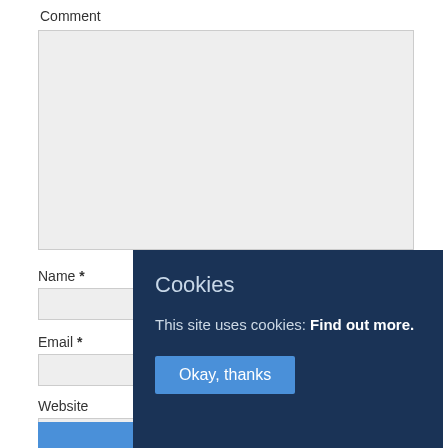Comment
[Figure (screenshot): Comment text area input box (light gray, empty)]
Name *
[Figure (screenshot): Name input field (light gray, empty)]
Email *
[Figure (screenshot): Email input field (light gray, empty)]
Website
[Figure (screenshot): Website input field (light gray, empty)]
[Figure (screenshot): Post Comment button (blue, partially visible)]
Cookies
This site uses cookies: Find out more.
Okay, thanks